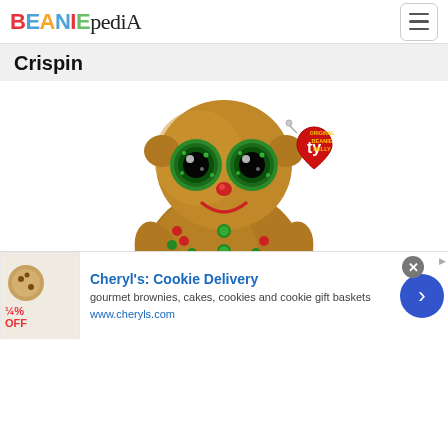BEANIEPEDIA
Crispin
[Figure (photo): A Ty Beanie Boo gingerbread man plush toy named Crispin. Brown gingerbread man shape with large glittery green eyes, red nose, green candy button decorations, and a Ty heart-shaped red tag attached.]
Cheryl's: Cookie Delivery
gourmet brownies, cakes, cookies and cookie gift baskets
www.cheryls.com